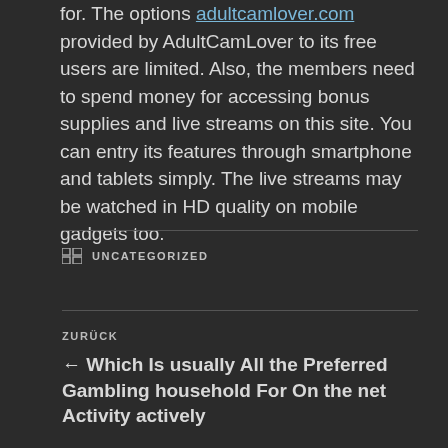for. The options adultcamlover.com provided by AdultCamLover to its free users are limited. Also, the members need to spend money for accessing bonus supplies and live streams on this site. You can entry its features through smartphone and tablets simply. The live streams may be watched in HD quality on mobile gadgets too.
UNCATEGORIZED
ZURÜCK
← Which Is usually All the Preferred Gambling household For On the net Activity actively